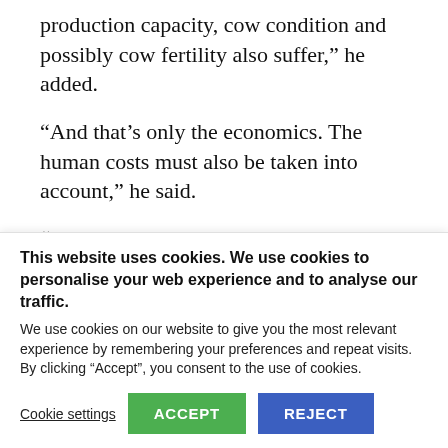production capacity, cow condition and possibly cow fertility also suffer,” he added.
“And that’s only the economics. The human costs must also be taken into account,” he said.
“In these exceptionally harsh circumstances, farmers need to feel truly
This website uses cookies. We use cookies to personalise your web experience and to analyse our traffic. We use cookies on our website to give you the most relevant experience by remembering your preferences and repeat visits. By clicking “Accept”, you consent to the use of cookies.
Cookie settings | ACCEPT | REJECT